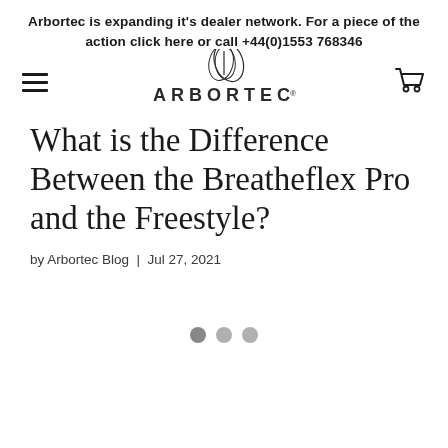Arbortec is expanding it's dealer network. For a piece of the action click here or call +44(0)1553 768346
[Figure (logo): Arbortec logo with leaf/feather graphic above the text ARBORTEC]
What is the Difference Between the Breatheflex Pro and the Freestyle?
by Arbortec Blog | Jul 27, 2021